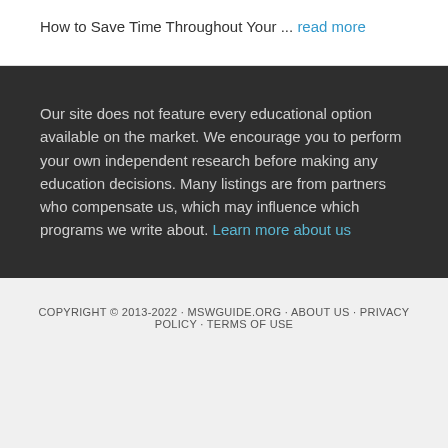How to Save Time Throughout Your ... read more
Our site does not feature every educational option available on the market. We encourage you to perform your own independent research before making any education decisions. Many listings are from partners who compensate us, which may influence which programs we write about. Learn more about us
COPYRIGHT © 2013-2022 · MSWGUIDE.ORG · ABOUT US · PRIVACY POLICY · TERMS OF USE